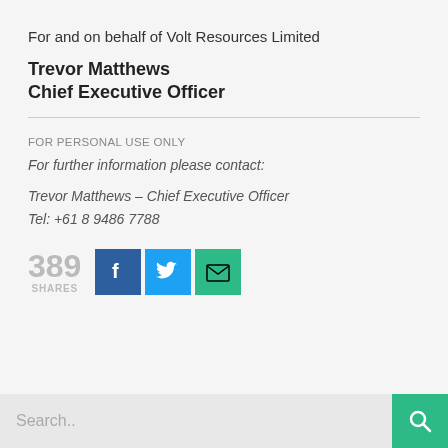For and on behalf of Volt Resources Limited
Trevor Matthews
Chief Executive Officer
FOR PERSONAL USE ONLY
For further information please contact:
Trevor Matthews – Chief Executive Officer
Tel: +61 8 9486 7788
[Figure (infographic): Social share count showing 389 SHARES, with Facebook (blue), Twitter (light blue), and email (green) share buttons]
Search..